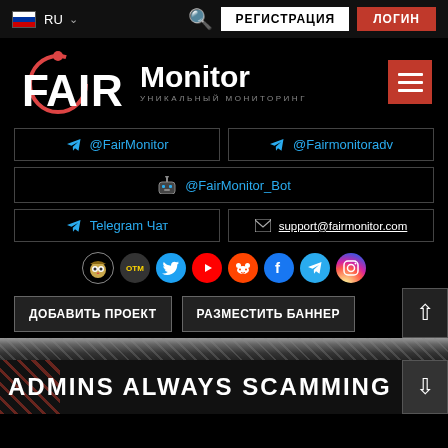RU — РЕГИСТРАЦИЯ ЛОГИН
[Figure (logo): FAIR Monitor logo with circular arc graphic and subtitle УНИКАЛЬНЫЙ МОНИТОРИНГ]
@FairMonitor
@Fairmonitoradv
@FairMonitor_Bot
Telegram Чат
support@fairmonitor.com
[Figure (infographic): Social media icons row: owl, DTM, Twitter, YouTube, Reddit, Facebook, Telegram, Instagram]
ДОБАВИТЬ ПРОЕКТ
РАЗМЕСТИТЬ БАННЕР
ADMINS ALWAYS SCAMMING